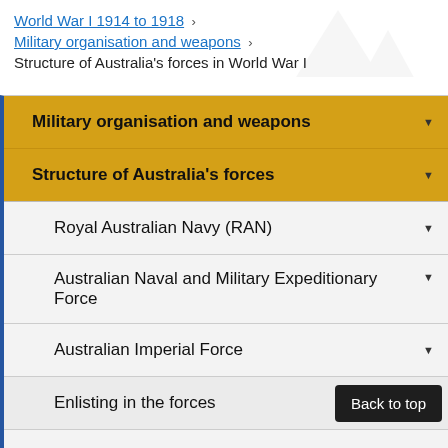World War I 1914 to 1918 > Military organisation and weapons > Structure of Australia's forces in World War I
Military organisation and weapons
Structure of Australia's forces
Royal Australian Navy (RAN)
Australian Naval and Military Expeditionary Force
Australian Imperial Force
Enlisting in the forces
Training the recruits